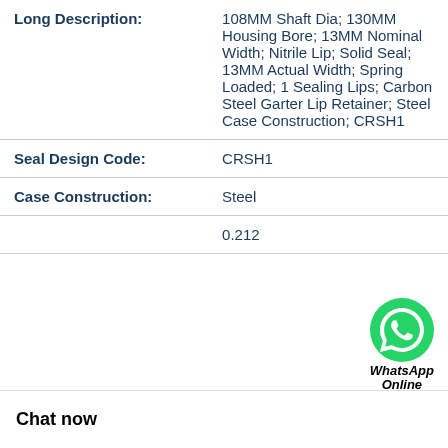| Field | Value |
| --- | --- |
| Long Description: | 108MM Shaft Dia; 130MM Housing Bore; 13MM Nominal Width; Nitrile Lip; Solid Seal; 13MM Actual Width; Spring Loaded; 1 Sealing Lips; Carbon Steel Garter Lip Retainer; Steel Case Construction; CRSH1 |
| Seal Design Code: | CRSH1 |
| Case Construction: | Steel |
|  | 0.212 |
Chat now